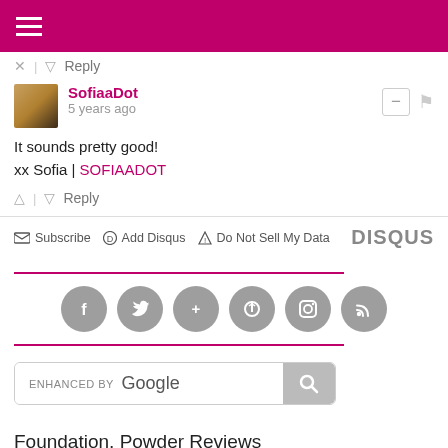Reply
SofiaaDot
5 years ago
It sounds pretty good!

xx Sofia | SOFIAADOT
Reply
Subscribe  Add Disqus  Do Not Sell My Data  DISQUS
[Figure (infographic): Social media icon circles: Facebook, Twitter, Google+, Pinterest, Instagram, RSS]
[Figure (screenshot): Enhanced by Google search bar with search button]
Foundation, Powder Reviews